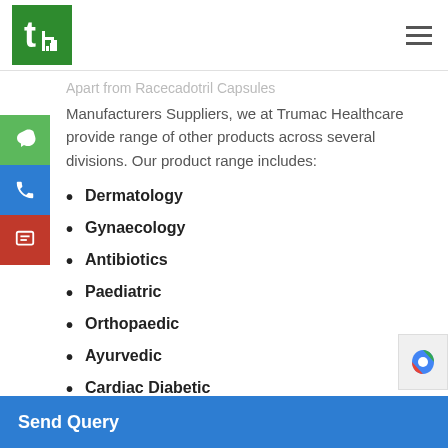[Figure (logo): Trumac Healthcare green logo with stylized 't' and 'h' letters on green background]
Apart from Racecadotril Capsules Manufacturers Suppliers, we at Trumac Healthcare provide range of other products across several divisions. Our product range includes:
Dermatology
Gynaecology
Antibiotics
Paediatric
Orthopaedic
Ayurvedic
Cardiac Diabetic
Send Query